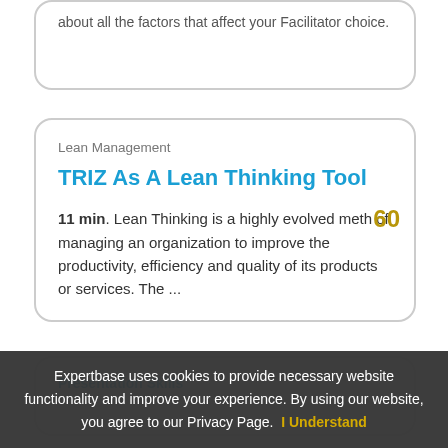about all the factors that affect your Facilitator choice.
Lean Management
TRIZ As A Lean Thinking Tool
11 min. Lean Thinking is a highly evolved meth of managing an organization to improve the productivity, efficiency and quality of its products or services. The ...
Presentation Skills
Expertbase uses cookies to provide necessary website functionality and improve your experience. By using our website, you agree to our Privacy Page. I Understand